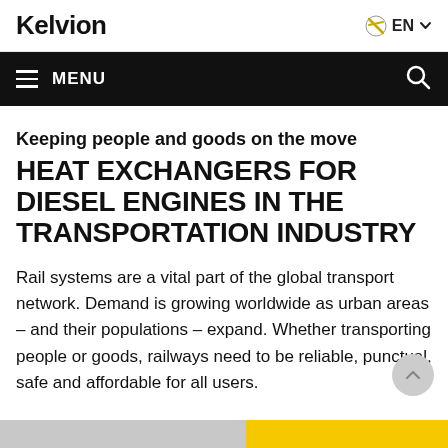Kelvion  EN
MENU
Keeping people and goods on the move
HEAT EXCHANGERS FOR DIESEL ENGINES IN THE TRANSPORTATION INDUSTRY
Rail systems are a vital part of the global transport network. Demand is growing worldwide as urban areas – and their populations – expand. Whether transporting people or goods, railways need to be reliable, punctual, safe and affordable for all users.